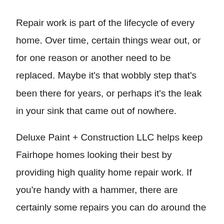Repair work is part of the lifecycle of every home. Over time, certain things wear out, or for one reason or another need to be replaced. Maybe it's that wobbly step that's been there for years, or perhaps it's the leak in your sink that came out of nowhere.
Deluxe Paint + Construction LLC helps keep Fairhope homes looking their best by providing high quality home repair work. If you're handy with a hammer, there are certainly some repairs you can do around the